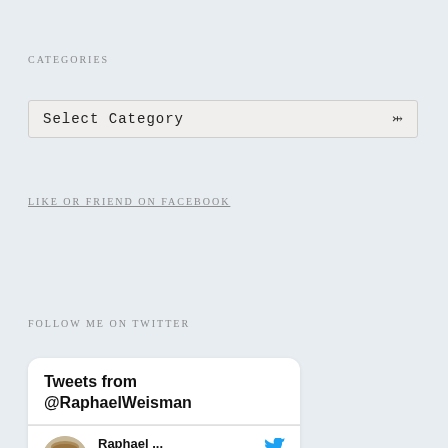CATEGORIES
Select Category
LIKE OR FRIEND ON FACEBOOK
FOLLOW ME ON TWITTER
[Figure (screenshot): Twitter widget card showing 'Tweets from @RaphaelWeisman' header, followed by a tweet row with a circular avatar photo of Raphael wearing a hat, the name 'Raphael ...' with Twitter bird icon, and '@... Aug 21' below]